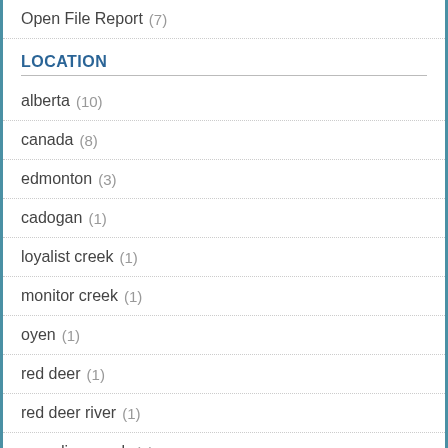Open File Report (7)
LOCATION
alberta (10)
canada (8)
edmonton (3)
cadogan (1)
loyalist creek (1)
monitor creek (1)
oyen (1)
red deer (1)
red deer river (1)
sounding creek (1)
Show more